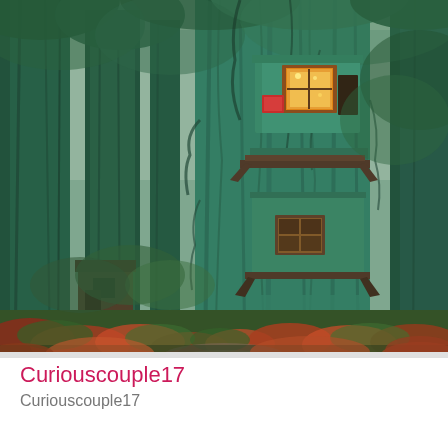[Figure (illustration): A digital painting/illustration of a tall green treehouse built into a massive teal/green tree trunk in a dark misty forest. The treehouse has multiple levels with wooden windows and orange/warm glowing interior. The forest floor has colorful autumn foliage in red and orange tones. A small shed is visible to the left. Moody, fantasy art style.]
Curiouscouple17
Curiouscouple17